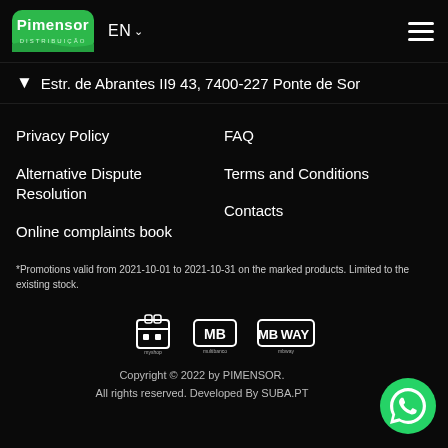Pimensor Distribuição | EN | menu
Estr. de Abrantes II9 43, 7400-227 Ponte de Sor
Privacy Policy
Alternative Dispute Resolution
Online complaints book
FAQ
Terms and Conditions
Contacts
*Promotions valid from 2021-10-01 to 2021-10-31 on the marked products. Limited to the existing stock.
[Figure (logo): Payment icons: MyShop, Multibanco, MB WAY]
Copyright © 2022 by PIMENSOR. All rights reserved. Developed By SUBA.PT